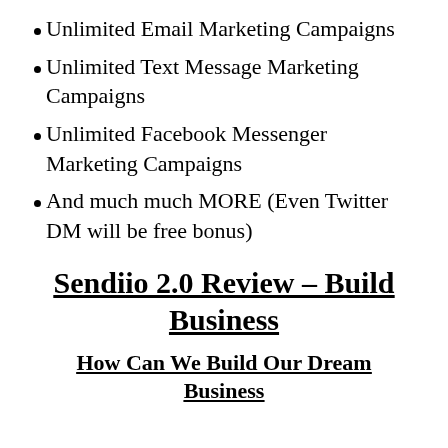Unlimited Email Marketing Campaigns
Unlimited Text Message Marketing Campaigns
Unlimited Facebook Messenger Marketing Campaigns
And much much MORE (Even Twitter DM will be free bonus)
Sendiio 2.0 Review – Build Business
How Can We Build Our Dream Business